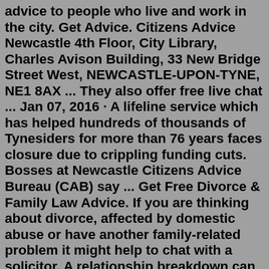advice to people who live and work in the city. Get Advice. Citizens Advice Newcastle 4th Floor, City Library, Charles Avison Building, 33 New Bridge Street West, NEWCASTLE-UPON-TYNE, NE1 8AX ... They also offer free live chat ... Jan 07, 2016 · A lifeline service which has helped hundreds of thousands of Tynesiders for more than 76 years faces closure due to crippling funding cuts. Bosses at Newcastle Citizens Advice Bureau (CAB) say ... Get Free Divorce & Family Law Advice. If you are thinking about divorce, affected by domestic abuse or have another family-related problem it might help to chat with a solicitor. A relationship breakdown can be a painful experience and a financial headache, especially if children are involved. Whatever family law advice you seek feel free to ... Money Advice Service Debt Advice Project: Call our Advice Service on 08082 78 78 15 who can arrange an appointment with this project. Pension Wise: 0800 138 3944 Advice for over-50s about ways to take money from your pension. Citizens Advice Witness. Contacts. Citizens